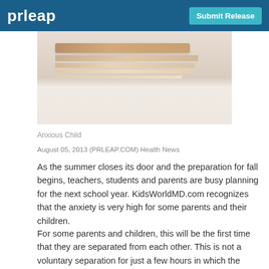prleap | Submit Release
[Figure (photo): Photo of stacked books on a light background, partially showing pencils or pens behind the books.]
Anxious Child
August 05, 2013 (PRLEAP.COM) Health News
As the summer closes its door and the preparation for fall begins, teachers, students and parents are busy planning for the next school year. KidsWorldMD.com recognizes that the anxiety is very high for some parents and their children.
For some parents and children, this will be the first time that they are separated from each other. This is not a voluntary separation for just a few hours in which the parents are included bringing the children and are then